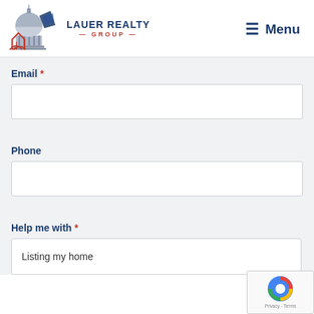[Figure (logo): Lauer Realty Group logo with capitol building and house graphic, navy and red colors]
≡ Menu
Email *
Phone
Help me with *
Listing my home
[Figure (other): reCAPTCHA badge with Privacy and Terms links]